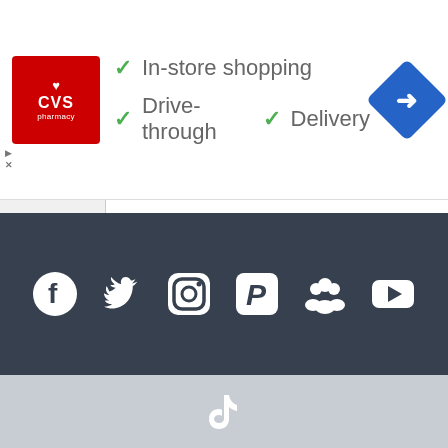[Figure (screenshot): CVS Pharmacy advertisement banner with logo, checkmarks for In-store shopping, Drive-through, and Delivery, plus a navigation arrow icon]
[Figure (screenshot): Collapse/accordion button bar with caret up icon]
[Figure (screenshot): Search bar with placeholder text 'Search ...' and magnifying glass icon]
[Figure (screenshot): Footer with social media icons: Facebook, Twitter, Instagram, Pinterest, MySpace/groups, YouTube on dark background]
[Figure (screenshot): Footer light section with TikTok icon on light gray background]